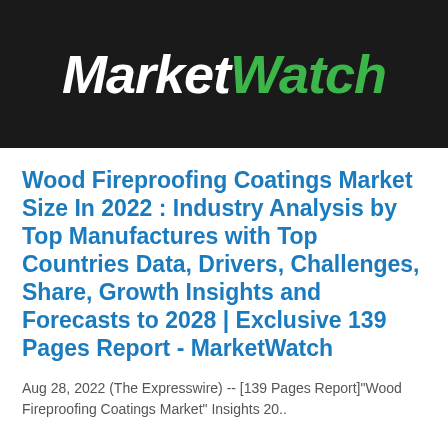[Figure (logo): MarketWatch logo — white italic 'Market' and green italic 'Watch' text on dark background]
Wood Fireproofing Coatings Market Size In 2022 : Industry Analysis by Top Manufactures with Top Countries Data, Drivers, Challenges, Share, Growth Insights and Forecasts to 2028 | Exclusive 139 Pages Report - MarketWatch
Aug 28, 2022 (The Expresswire) -- [139 Pages Report]"Wood Fireproofing Coatings Market" Insights 20..